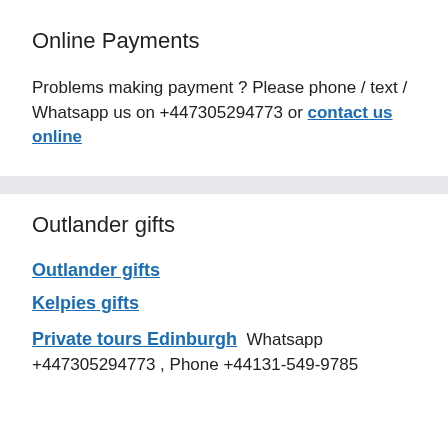Online Payments
Problems making payment ? Please phone / text / Whatsapp us on +447305294773 or contact us online
Outlander gifts
Outlander gifts
Kelpies gifts
Private tours Edinburgh  Whatsapp +447305294773 , Phone +44131-549-9785